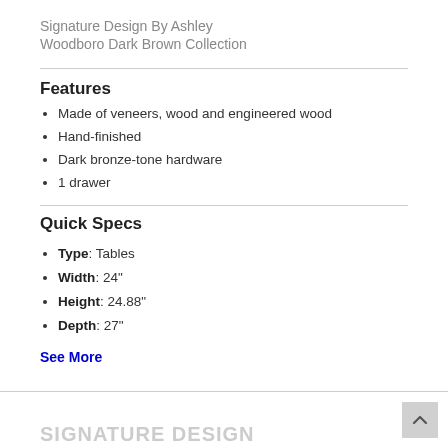Signature Design By Ashley
Woodboro Dark Brown Collection
Features
Made of veneers, wood and engineered wood
Hand-finished
Dark bronze-tone hardware
1 drawer
Quick Specs
Type: Tables
Width: 24"
Height: 24.88"
Depth: 27"
See More